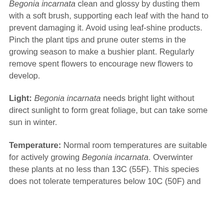Begonia incarnata clean and glossy by dusting them with a soft brush, supporting each leaf with the hand to prevent damaging it. Avoid using leaf-shine products. Pinch the plant tips and prune outer stems in the growing season to make a bushier plant. Regularly remove spent flowers to encourage new flowers to develop.
Light: Begonia incarnata needs bright light without direct sunlight to form great foliage, but can take some sun in winter.
Temperature: Normal room temperatures are suitable for actively growing Begonia incarnata. Overwinter these plants at no less than 13C (55F). This species does not tolerate temperatures below 10C (50F) and